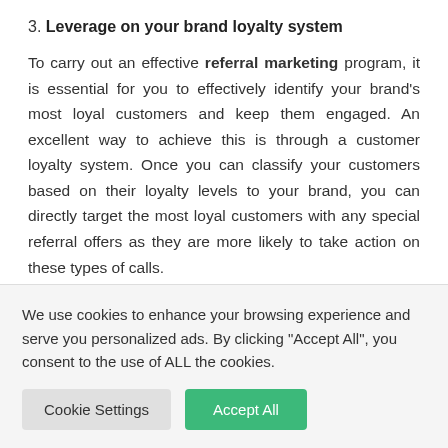3. Leverage on your brand loyalty system
To carry out an effective referral marketing program, it is essential for you to effectively identify your brand's most loyal customers and keep them engaged. An excellent way to achieve this is through a customer loyalty system. Once you can classify your customers based on their loyalty levels to your brand, you can directly target the most loyal customers with any special referral offers as they are more likely to take action on these types of calls.
We use cookies to enhance your browsing experience and serve you personalized ads. By clicking "Accept All", you consent to the use of ALL the cookies.